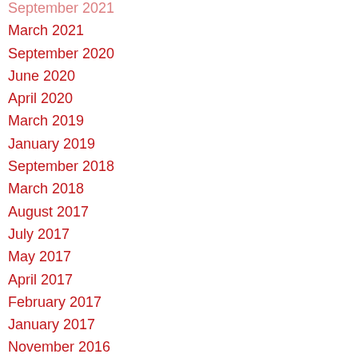September 2021
March 2021
September 2020
June 2020
April 2020
March 2019
January 2019
September 2018
March 2018
August 2017
July 2017
May 2017
April 2017
February 2017
January 2017
November 2016
July 2016
June 2016
May 2016
April 2016
March 2016